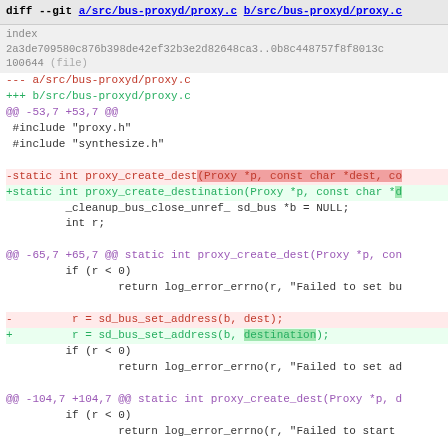diff --git a/src/bus-proxyd/proxy.c b/src/bus-proxyd/proxy.c
index 2a3de709580c876b398de42ef32b3e2d82648ca3..0b8c448757f8f8013c 100644 (file)
--- a/src/bus-proxyd/proxy.c
+++ b/src/bus-proxyd/proxy.c
@@ -53,7 +53,7 @@
#include "proxy.h"
 #include "synthesize.h"
-static int proxy_create_dest(Proxy *p, const char *dest, co
+static int proxy_create_destination(Proxy *p, const char *d
_cleanup_bus_close_unref_ sd_bus *b = NULL;
        int r;
@@ -65,7 +65,7 @@ static int proxy_create_dest(Proxy *p, con
if (r < 0)
                return log_error_errno(r, "Failed to set bu
-        r = sd_bus_set_address(b, dest);
+        r = sd_bus_set_address(b, destination);
if (r < 0)
                return log_error_errno(r, "Failed to set ad
@@ -104,7 +104,7 @@ static int proxy_create_dest(Proxy *p, d
if (r < 0)
                return log_error_errno(r, "Failed to start
-        p->dest_bus = b;